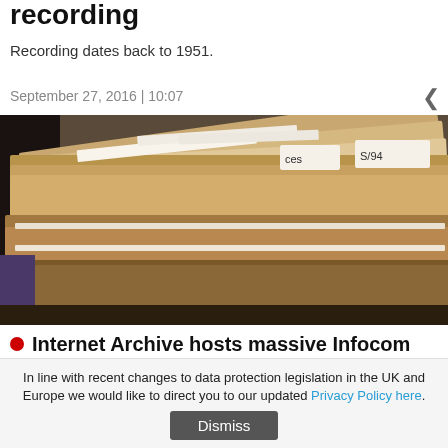recording
Recording dates back to 1951.
September 27, 2016 | 10:07
[Figure (photo): Close-up photograph of file folders/documents in a filing cabinet or document storage box, with labeled tabs visible (text includes 'ces', 'S/94').]
Internet Archive hosts massive Infocom document trove
4,000 pages is just the start.
In line with recent changes to data protection legislation in the UK and Europe we would like to direct you to our updated Privacy Policy here.
Dismiss